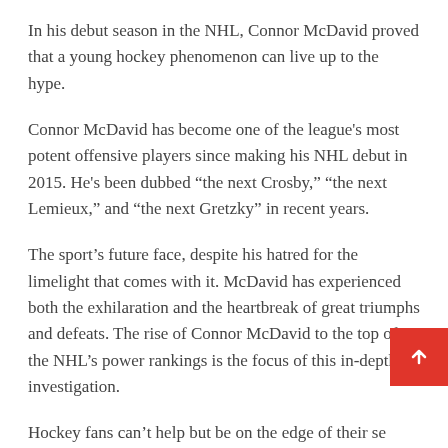In his debut season in the NHL, Connor McDavid proved that a young hockey phenomenon can live up to the hype.
Connor McDavid has become one of the league's most potent offensive players since making his NHL debut in 2015. He's been dubbed “the next Crosby,” “the next Lemieux,” and “the next Gretzky” in recent years.
The sport’s future face, despite his hatred for the limelight that comes with it. McDavid has experienced both the exhilaration and the heartbreak of great triumphs and defeats. The rise of Connor McDavid to the top of the NHL’s power rankings is the focus of this in-depth investigation.
Hockey fans can’t help but be on the edge of their se when they see him on the ice. For those who are curious, here are some basic details regarding the life